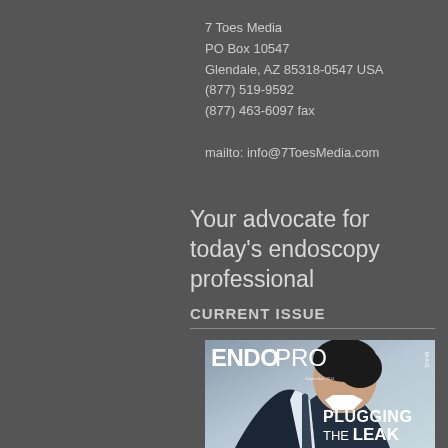7 Toes Media
PO Box 10547
Glendale, AZ 85318-0547 USA
(877) 519-9592
(877) 463-6097 fax

mailto: info@7ToesMedia.com
Your advocate for today's endoscopy professional
CURRENT ISSUE
[Figure (photo): Magazine cover of ENDO PRO MAG showing a man in a suit bowing his head, with the text 'PLUGGING THE LEAK' at the bottom]